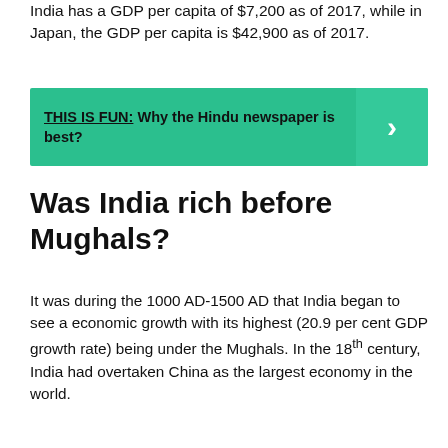India has a GDP per capita of $7,200 as of 2017, while in Japan, the GDP per capita is $42,900 as of 2017.
[Figure (infographic): Teal banner with 'THIS IS FUN: Why the Hindu newspaper is best?' and a right-arrow chevron on the right side.]
Was India rich before Mughals?
It was during the 1000 AD-1500 AD that India began to see a economic growth with its highest (20.9 per cent GDP growth rate) being under the Mughals. In the 18th century, India had overtaken China as the largest economy in the world.